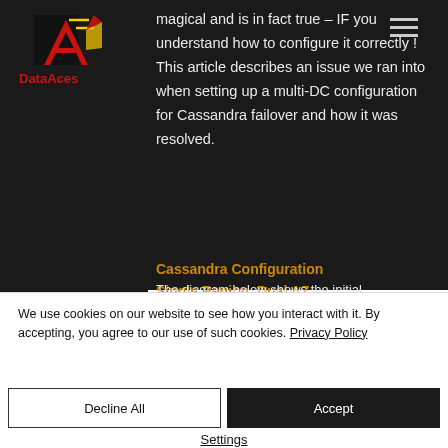[Figure (logo): DataAces logo with stylized 'A' in red and yellow on dark background, with 'DataAces' text in red below]
magical and is in fact true – IF you understand how to configure it correctly ! This article describes an issue we ran into when setting up a multi-DC configuration for Cassandra failover and how it was resolved.
Cassandra Configuration
Single Region, Dual AZ
We use cookies on our website to see how you interact with it. By accepting, you agree to our use of such cookies. Privacy Policy
Decline All
Accept
Settings